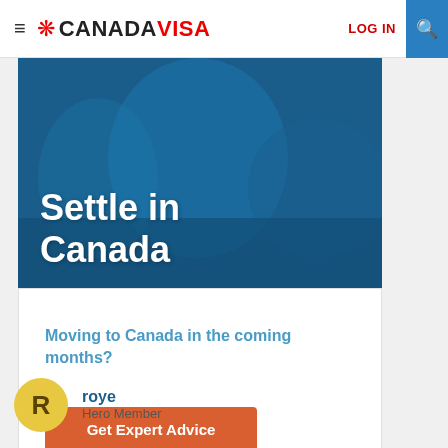≡ ❀ CANADAVISA | LOG IN 🔍
[Figure (screenshot): Blue banner with white bold text reading 'Settle in Canada' on a dark blue background with blurred crowd silhouette]
Moving to Canada in the coming months?
Get Expert Advice
roye
Hero Member